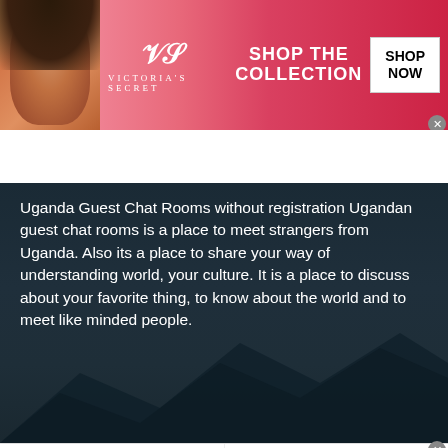[Figure (screenshot): Victoria's Secret banner advertisement with pink background, model, VS logo, 'SHOP THE COLLECTION' text, and 'SHOP NOW' button]
Uganda Guest Chat Rooms without registration Ugandan guest chat rooms is a place to meet strangers from Uganda. Also its a place to share your way of understanding world, your culture. It is a place to discuss about your favorite thing, to know about the world and to meet like minded people.
[Figure (screenshot): Advertisement: Discover New and Used Car Deals Near You - Ad by Car Deals Near You]
[Figure (screenshot): Advertisement: 20 Things a Mother Should Tell Her Son - Ad by Quizz]